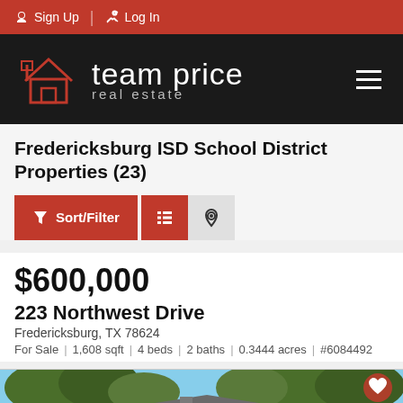Sign Up | Log In
[Figure (logo): Team Price Real Estate logo with house icon on black background]
Fredericksburg ISD School District Properties (23)
$600,000
223 Northwest Drive
Fredericksburg, TX 78624
For Sale | 1,608 sqft | 4 beds | 2 baths | 0.3444 acres | #6084492
[Figure (photo): Exterior photo of a house with trees, partial view at bottom of page]